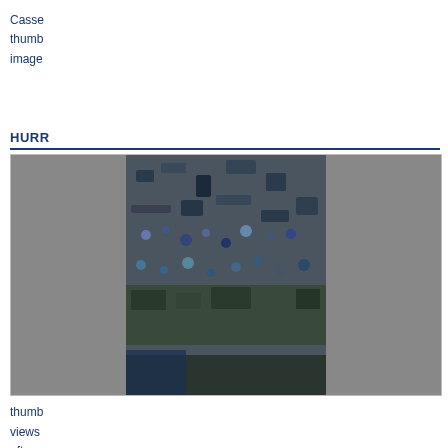Casse... thumb... image...
HURR...
[Figure (photo): Thumbnail photo showing crowd/debris scene, aerial or overhead view]
thumb views aftern Septe...
SHEIL... 2007
[Figure (photo): Thumbnail photo showing outdoor scene with trees/garden]